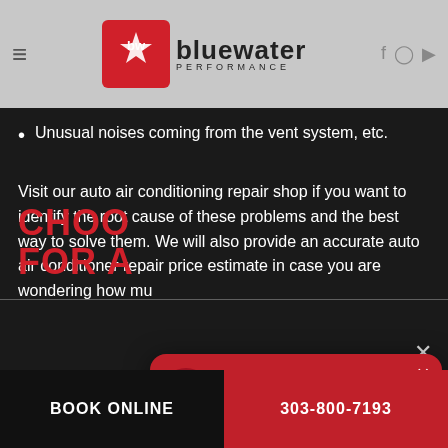Bluewater Performance — navigation bar with logo and social icons
Unusual, musty, or foul odors coming from the vent system
Refrigerant or oil leaks
Unusual noises coming from the vent system, etc.
Visit our auto air conditioning repair shop if you want to identify the root cause of these problems and the best way to solve them. We will also provide an accurate auto air conditioner repair price estimate in case you are wondering how mu...
Welcome, how can we help you?
Write your message...
CHOO... FOR A...
BOOK ONLINE | 303-800-7193